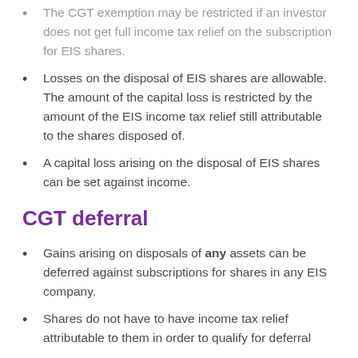The CGT exemption may be restricted if an investor does not get full income tax relief on the subscription for EIS shares.
Losses on the disposal of EIS shares are allowable. The amount of the capital loss is restricted by the amount of the EIS income tax relief still attributable to the shares disposed of.
A capital loss arising on the disposal of EIS shares can be set against income.
CGT deferral
Gains arising on disposals of any assets can be deferred against subscriptions for shares in any EIS company.
Shares do not have to have income tax relief attributable to them in order to qualify for deferral